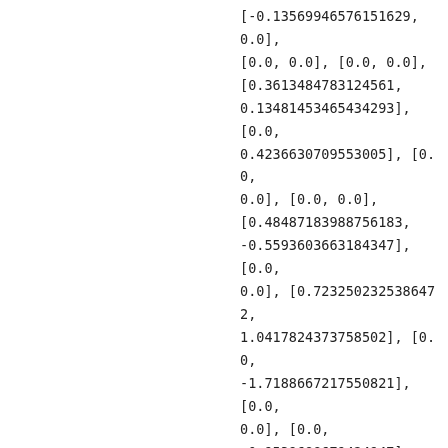[-0.13569946576151629, 0.0], [0.0, 0.0], [0.0, 0.0], [0.3613484783124561, 0.13481453465434293], [0.0, 0.4236630709553005], [0.0, 0.0], [0.0, 0.0], [0.48487183988756183, -0.5593603663184347], [0.0, 0.0], [0.7232502325386472, 1.0417824373758502], [0.0, -1.7188667217550821], [0.0, 0.0], [0.0, -0.9539688679424947], [1.2842617118388826, -0.8915897872761399], [0.0, 0.0], [-0.08736528561288705, -0.34249443167534305], [0.0, 0.0], [0.0, 0.0], [0.0, 0.0], [0.0, -0.7153888884983203], [-0.09983040909415246,